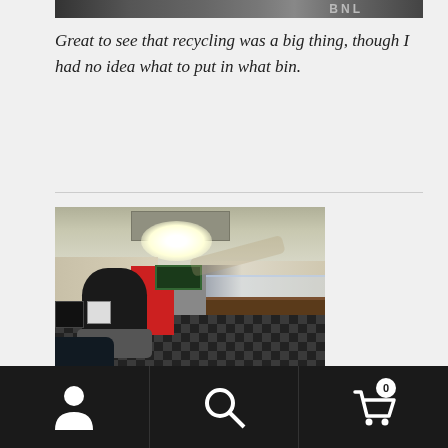[Figure (photo): Partial top strip of a photo showing what appears to be a store or venue, with text 'BNL' visible]
Great to see that recycling was a big thing, though I had no idea what to put in what bin.
[Figure (photo): Interior corridor of what appears to be a Japanese shop or waiting area. A person in dark clothing is seated on the left. The room has a checkered black and grey floor, display cases along the right wall, a red rack in the middle background, signs on the left wall, a ceiling light fixture, and a black bag in the foreground bottom left.]
Navigation bar with person icon, search icon, and shopping cart icon with badge showing 0